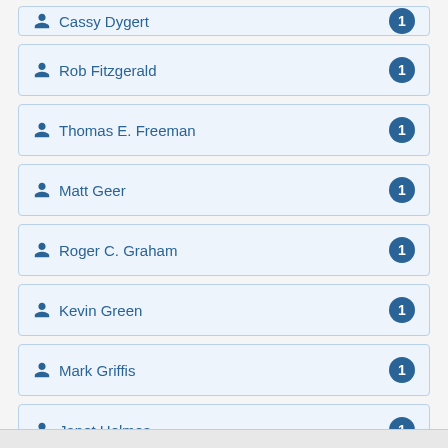Cassy Dygert 1
Rob Fitzgerald 1
Thomas E. Freeman 1
Matt Geer 1
Roger C. Graham 1
Kevin Green 1
Mark Griffis 1
Janet Holmes 1